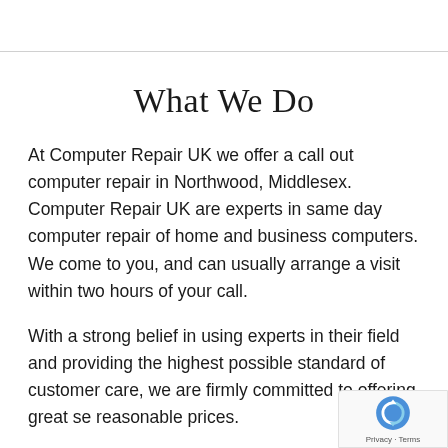What We Do
At Computer Repair UK we offer a call out computer repair in Northwood, Middlesex. Computer Repair UK are experts in same day computer repair of home and business computers. We come to you, and can usually arrange a visit within two hours of your call.
With a strong belief in using experts in their field and providing the highest possible standard of customer care, we are firmly committed to offering great se reasonable prices.
[Figure (logo): reCAPTCHA badge with circular arrow logo icon and Privacy - Terms links]